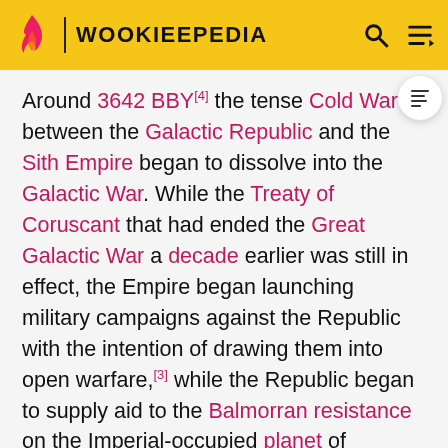WOOKIEEPEDIA
Around 3642 BBY[4] the tense Cold War between the Galactic Republic and the Sith Empire began to dissolve into the Galactic War. While the Treaty of Coruscant that had ended the Great Galactic War a decade earlier was still in effect, the Empire began launching military campaigns against the Republic with the intention of drawing them into open warfare,[3] while the Republic began to supply aid to the Balmorran resistance on the Imperial-occupied planet of Balmorra more openly.[2] Upon learning of the existence of Quesh, a planet that contained the valuable chemical venenit queshaaga—better known as Quesh venom—which could be refined into military adrenals,[20] the Empire decided to launch a